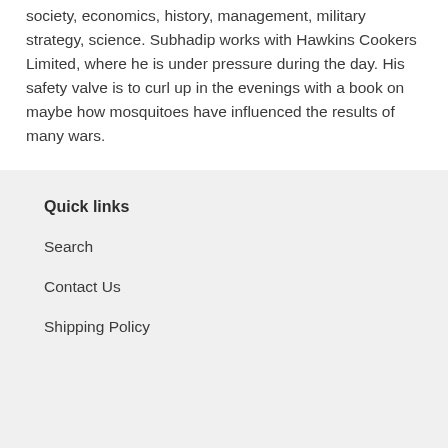society, economics, history, management, military strategy, science. Subhadip works with Hawkins Cookers Limited, where he is under pressure during the day. His safety valve is to curl up in the evenings with a book on maybe how mosquitoes have influenced the results of many wars.
Quick links
Search
Contact Us
Shipping Policy